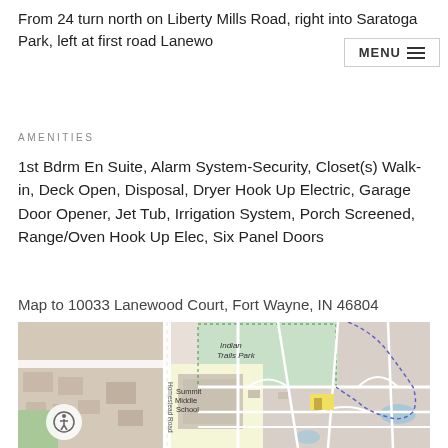From 24 turn north on Liberty Mills Road, right into Saratoga Park, left at first road Lanewood Court...
AMENITIES
1st Bdrm En Suite, Alarm System-Security, Closet(s) Walk-in, Deck Open, Disposal, Dryer Hook Up Electric, Garage Door Opener, Jet Tub, Irrigation System, Porch Screened, Range/Oven Hook Up Elec, Six Panel Doors
Map to 10033 Lanewood Court, Fort Wayne, IN 46804
[Figure (map): Street map showing area around 10033 Lanewood Court, Fort Wayne, IN 46804. Shows Summit Middle School, Indian Trails Park, and Homestead Road. Includes zoom controls and accessibility button.]